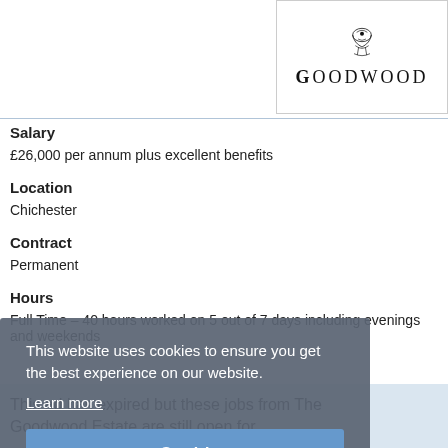[Figure (logo): Goodwood Estate logo with crest and text GOODWOOD in spaced serif capitals]
Salary
£26,000 per annum plus excellent benefits
Location
Chichester
Contract
Permanent
Hours
Full Time – 40 hours worked on 5 out of 7 days including evenings and weekends
This website uses cookies to ensure you get the best experience on our website.
Learn more
Got it!
This ad has expired but these jobs from The Goodwood Estate are still open for